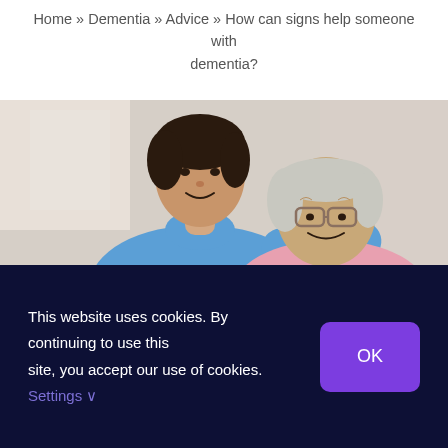Home » Dementia » Advice » How can signs help someone with dementia?
[Figure (photo): A young man in a blue polo shirt smiling and leaning over an elderly man with glasses wearing a pink shirt, both looking at something together in a bright indoor setting.]
This website uses cookies. By continuing to use this site, you accept our use of cookies. Settings ∨